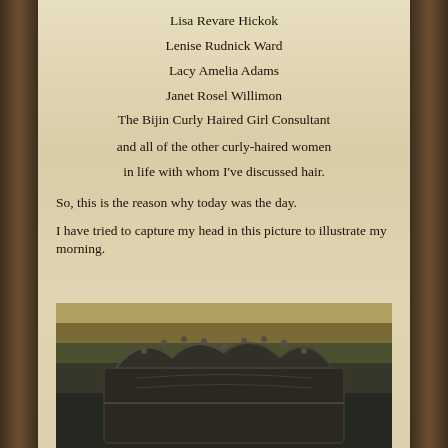Lisa Revare Hickok
Lenise Rudnick Ward
Lacy Amelia Adams
Janet Rosel Willimon
The Bijin Curly Haired Girl Consultant
and all of the other curly-haired women
in life with whom I've discussed hair.
So, this is the reason why today was the day.
I have tried to capture my head in this picture to illustrate my morning.
[Figure (photo): A dark metal tin object, possibly a decorative box or canister with an ornate scalloped top edge, photographed against a khaki/olive background.]